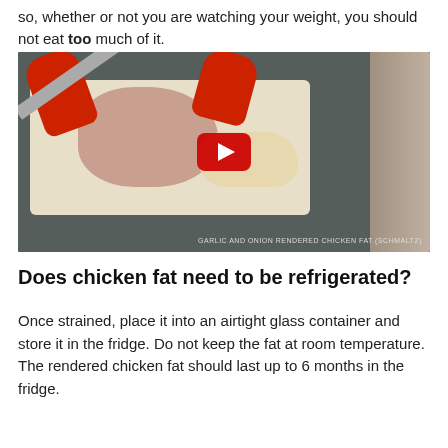so, whether or not you are watching your weight, you should not eat too much of it.
[Figure (screenshot): YouTube video thumbnail showing person in red gloves cutting raw chicken on a white cutting board, with rendered chicken fat beside it. Video title label reads: GARLIC AND ONION RENDERED CHICKEN FAT (SCHMALTZ)]
Does chicken fat need to be refrigerated?
Once strained, place it into an airtight glass container and store it in the fridge. Do not keep the fat at room temperature. The rendered chicken fat should last up to 6 months in the fridge.